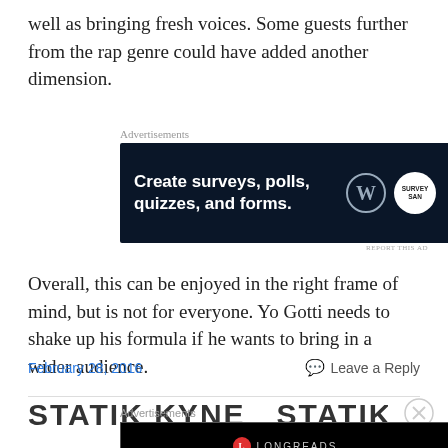well as bringing fresh voices. Some guests further from the rap genre could have added another dimension.
[Figure (infographic): Advertisement banner: dark navy background with text 'Create surveys, polls, quizzes, and forms.' with WordPress and SurveyMon logos]
Overall, this can be enjoyed in the right frame of mind, but is not for everyone. Yo Gotti needs to shake up his formula if he wants to bring in a wider audience.
February 28, 2016
Leave a Reply
STATIK KYNE  STATIK KYNE
[Figure (infographic): Advertisement banner: black background with Longreads logo and text 'Read anything great lately?']